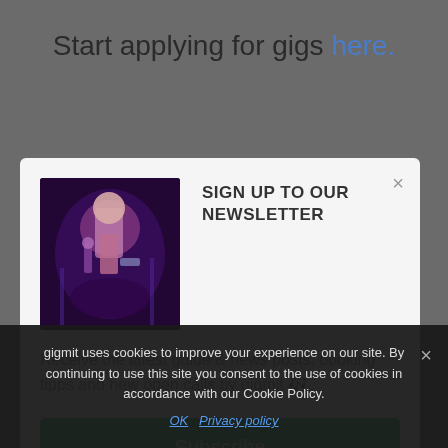Start applying for gigs here.
[Figure (screenshot): Newsletter signup modal with a photo of a performer on stage, title 'SIGN UP TO OUR NEWSLETTER', body text, and a green Subscribe button]
SIGN UP TO OUR NEWSLETTER
Receive the latest guide & news posts, booking tipps and new open calls by gigmit 🎶
Subscribe
gigmit uses cookies to improve your experience on our site. By continuing to use this site you consent to the use of cookies in accordance with our Cookie Policy.
OK   Privacy policy